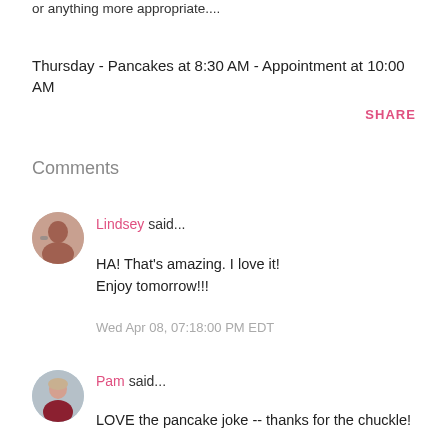or anything more appropriate....
Thursday - Pancakes at 8:30 AM - Appointment at 10:00 AM
SHARE
Comments
Lindsey said...
HA! That's amazing. I love it! Enjoy tomorrow!!!
Wed Apr 08, 07:18:00 PM EDT
Pam said...
LOVE the pancake joke -- thanks for the chuckle!